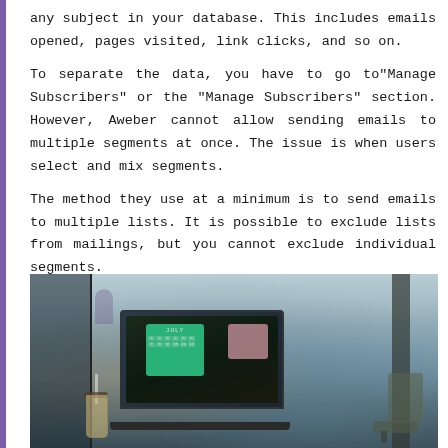any subject in your database. This includes emails opened, pages visited, link clicks, and so on.
To separate the data, you have to go to"Manage Subscribers" or the "Manage Subscribers" section. However, Aweber cannot allow sending emails to multiple segments at once. The issue is when users select and mix segments.
The method they use at a minimum is to send emails to multiple lists. It is possible to exclude lists from mailings, but you cannot exclude individual segments.
[Figure (photo): A cafe scene showing a laptop with a green calendar app on screen and a pink widget, alongside an iced drink with a straw, taken in a blurred cafe interior with large windows and a column visible in the background.]